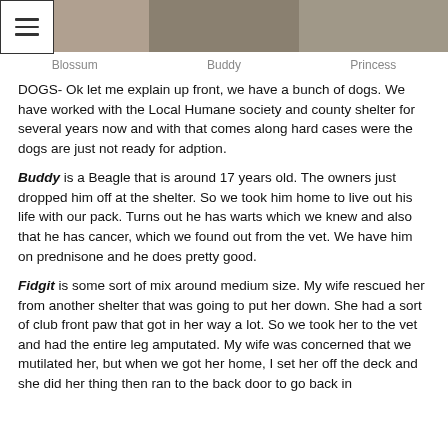[Figure (photo): Three dog photos side by side: Blossum, Buddy, Princess]
Blossum    Buddy    Princess
DOGS- Ok let me explain up front, we have a bunch of dogs.  We have worked with the Local Humane society and county shelter for several years now and with that comes along hard cases were the dogs are just not ready for adption.
Buddy is a Beagle that is around 17 years old.  The owners just dropped him off at the shelter. So we took him home to live out his life with our pack.  Turns out he has warts which we knew and also that he has cancer, which we found out from the vet.  We have him on prednisone and he does pretty good.
Fidgit is some sort of mix around medium size.  My wife rescued her from another shelter that was going to put her down.  She had a sort of club front paw that got in her way a lot.  So we took her to the vet and had the entire leg amputated.  My wife was concerned that we mutilated her, but when we got her home, I set her off the deck and she did her thing then ran to the back door to go back in